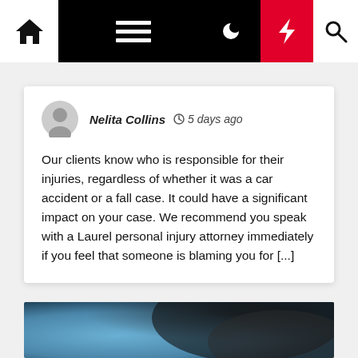Navigation bar with home, menu, dark mode, flash/featured, and search icons
Nelita Collins  🕐 5 days ago

Our clients know who is responsible for their injuries, regardless of whether it was a car accident or a fall case. It could have a significant impact on your case. We recommend you speak with a Laurel personal injury attorney immediately if you feel that someone is blaming you for [...]
[Figure (photo): Close-up blurred photo of hands with gloves, possibly holding an object, blue and dark tones]